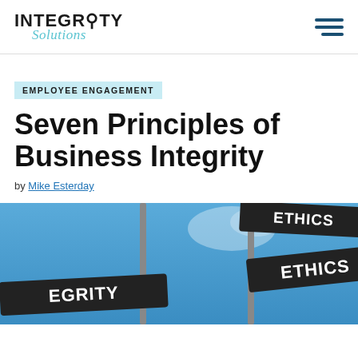INTEGRITY Solutions
EMPLOYEE ENGAGEMENT
Seven Principles of Business Integrity
by Mike Esterday
[Figure (photo): Street signs showing 'INTEGRITY' and 'ETHICS' against a blue sky background]